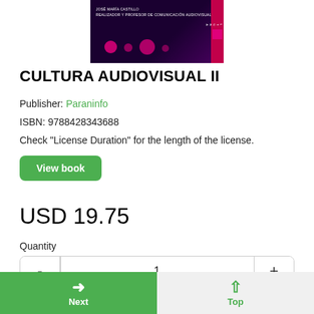[Figure (illustration): Book cover for Cultura Audiovisual II by José María Castillo, dark purple background with magenta/pink circular shapes and red spine]
CULTURA AUDIOVISUAL II
Publisher: Paraninfo
ISBN: 9788428343688
Check "License Duration" for the length of the license.
View book
USD 19.75
Quantity
- 1 +
Next | Top